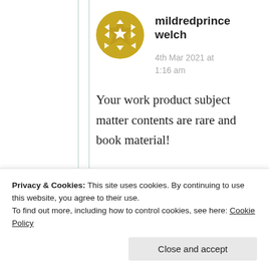[Figure (illustration): Golden/yellow star badge avatar icon for user mildredprincewelch]
mildredprince welch
4th Mar 2021 at 1:16 am
Your work product subject matter contents are rare and book material!
★ Liked by 2 people
Privacy & Cookies: This site uses cookies. By continuing to use this website, you agree to their use.
To find out more, including how to control cookies, see here: Cookie Policy
Close and accept